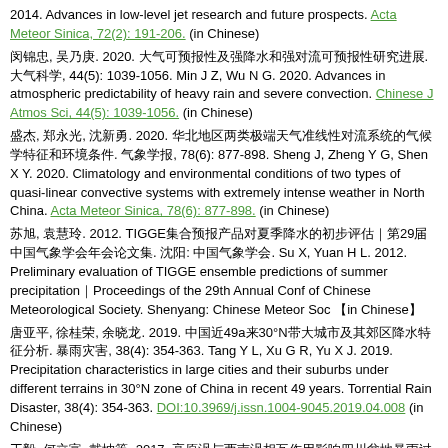2014. Advances in low-level jet research and future prospects. Acta Meteor Sinica, 72(2): 191-206. (in Chinese)
闵锦忠, 吴乃庚. 2020. 大气可预报性及强降水和强对流可预报性研究进展. 大气科学, 44(5): 1039-1056. Min J Z, Wu N G. 2020. Advances in atmospheric predictability of heavy rain and severe convection. Chinese J Atmos Sci, 44(5): 1039-1056. (in Chinese)
盛杰, 郑永光, 沈新勇. 2020. 华北地区两类极端天气准线性对流系统的气候学特征和环境条件. 气象学报, 78(6): 877-898. Sheng J, Zheng Y G, Shen X Y. 2020. Climatology and environmental conditions of two types of quasi-linear convective systems with extremely intense weather in North China. Acta Meteor Sinica, 78(6): 877-898. (in Chinese)
苏旭, 袁慧玲. 2012. TIGGE集合预报产品对夏季降水的初步评估．第29届中国气象学会年会论文集. 沈阳: 中国气象学会. Su X, Yuan H L. 2012. Preliminary evaluation of TIGGE ensemble predictions of summer precipitation．Proceedings of the 29th Annual Conf of Chinese Meteorological Society. Shenyang: Chinese Meteor Soc ［in Chinese］
唐亚平, 徐桂荣, 余晓龙. 2019. 中国近49a来30°N带大城市及其郊区降水特征分析. 暴雨灾害, 38(4): 354-363. Tang Y L, Xu G R, Yu X J. 2019. Precipitation characteristics in large cities and their suburbs under different terrains in 30°N zone of China in recent 49 years. Torrential Rain Disaster, 38(4): 354-363. DOI:10.3969/j.issn.1004-9045.2019.04.008 (in Chinese)
王毅, 何立富, 戴坤等. 2017. 高原涡与西南涡相互作用影响四川盆地暴雨过程的集合敏感性分析. 高原气象, 36(5): 1245-1256. Wang Y, He L F, Dai K, et al. 2017. An ensemble sensitivity analysis of a heavy rainfall over Sichuan Basin under interaction between plateau vortex and southwest vortex. Plateau Meteor, 36(5): 1245-1256. (in Chinese)
王毅, 戴坤, 等. 2020. 集合敏感性分析方法在暴雨预报中的应用. 暴雨灾害, 19(2): 58-64及74. Wang Y, Dai K...